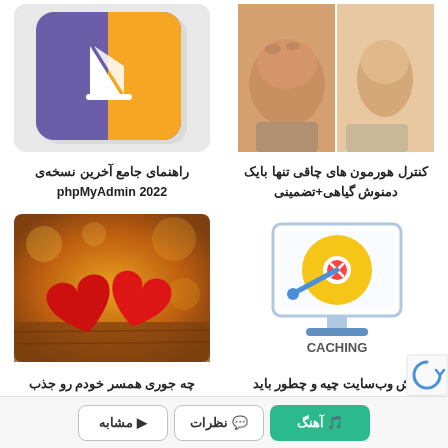[Figure (illustration): phpMyAdmin sailboat logo on purple/orange background]
راهنمای جامع آخرین نسخه‌ی phpMyAdmin 2022
[Figure (photo): Before and after weight loss comparison showing male torso]
کنترل هورمون های چاقی تنها بایک دمنوش گیاهی+تضمینی
[Figure (photo): Two red hearts on wooden background]
چه جوری همسر خودم رو جذب کنم؟؟ از مشاور کمک بگیر
[Figure (illustration): Computer monitor with disk/caching icon and CACHING text]
کش وب‌سایت چیه و چطور باید فعال کنیم؟